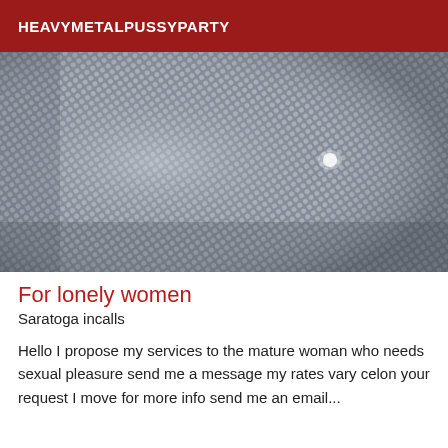HEAVYMETALPUSSYPARTY
[Figure (photo): Close-up photograph of a woven or mesh metallic fabric/screen texture, gray tones with diagonal pattern, with a small light highlight near the center-right.]
For lonely women
Saratoga incalls
Hello I propose my services to the mature woman who needs sexual pleasure send me a message my rates vary celon your request I move for more info send me an email...